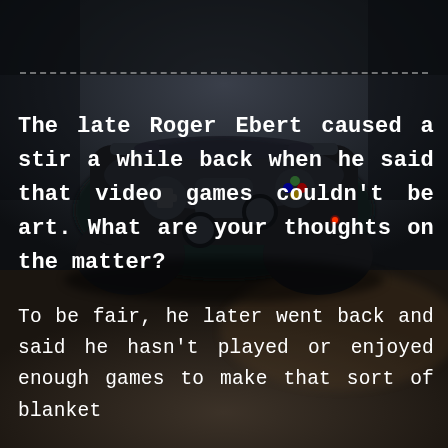[Figure (photo): Dark moody photo of a black gaming controller (PlayStation-style) resting on a wooden surface, with a blurred dark background and a small red LED light visible on the controller.]
The late Roger Ebert caused a stir a while back when he said that video games couldn’t be art. What are your thoughts on the matter?
To be fair, he later went back and said he hasn’t played or enjoyed enough games to make that sort of blanket statement. He had the courage to T-t-